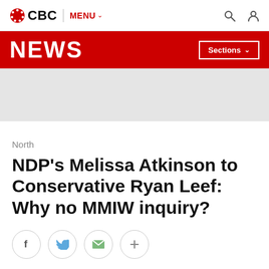CBC | MENU
NEWS | Sections
[Figure (other): Grey advertisement/banner placeholder area]
North
NDP's Melissa Atkinson to Conservative Ryan Leef: Why no MMIW inquiry?
[Figure (other): Social share buttons: Facebook, Twitter, Email, More (+)]